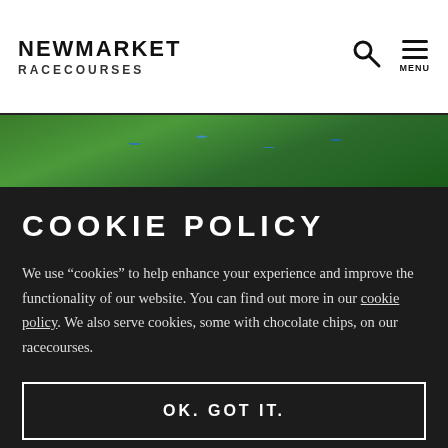NEWMARKET RACECOURSES
[Figure (photo): Close-up photo of green foliage with blue berries/fruits in background]
COOKIE POLICY
We use “cookies” to help enhance your experience and improve the functionality of our website. You can find out more in our cookie policy. We also serve cookies, some with chocolate chips, on our racecourses.
OK. GOT IT.